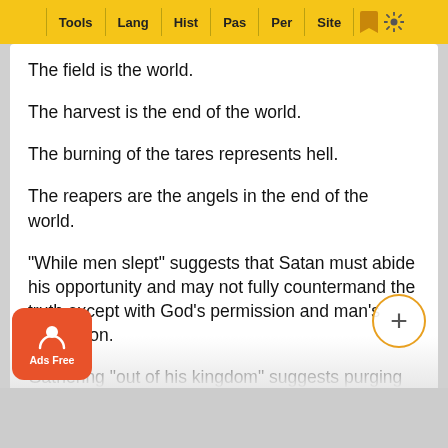Tools | Lang | Hist | Pas | Per | Site
The field is the world.
The harvest is the end of the world.
The burning of the tares represents hell.
The reapers are the angels in the end of the world.
"While men slept" suggests that Satan must abide his opportunity and may not fully countermand the truth except with God's permission and man's inattention.
Gathering "out of his kingdom" suggests purging of the church at the last day, in the judgment.
From the above, it further appears that Christ